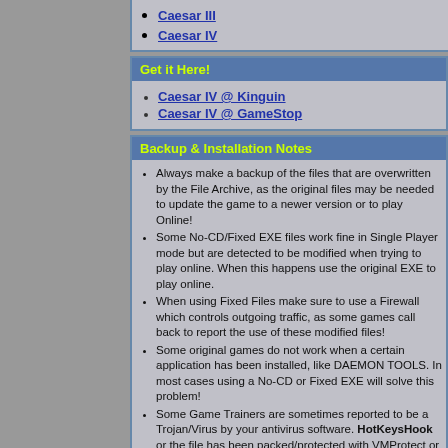Caesar III
Caesar IV
Get it Here!
Caesar IV @ Kinguin
Caesar IV @ GameStop
Backup & Installation Notes
Always make a backup of the files that are overwritten by the File Archive, as the original files may be needed to update the game to a newer version or to play Online!
Some No-CD/Fixed EXE files work fine in Single Player mode but are detected to be modified when trying to play online. When this happens use the original EXE to play online.
When using Fixed Files make sure to use a Firewall which controls outgoing traffic, as some games call back to report the use of these modified files!
Some original games do not work when a certain application has been installed, like DAEMON TOOLS. In most cases using a No-CD or Fixed EXE will solve this problem!
Some Game Trainers are sometimes reported to be a Trojan/Virus by your antivirus software. HotKeysHook or the file has been packed/protected with VMProtect or Themida and is recognized as Win32/Packed.VMProtect or Win32/Packed.Themida. In ALL cases we at Game Trainers @ GCW contain known malicious code.
If you have problems using a trainer in combination with Windows Vista, 7, 8 or 10 then make sure to run the trainer with Administrator rights and when needed in Windows XP or Vista Compatibility mode!
ALL available trainers are for Single Player/Offline use only! Using Trainers in Multi-Player Online Games can/will be banned/closed!
Caesar IV Free Downloads